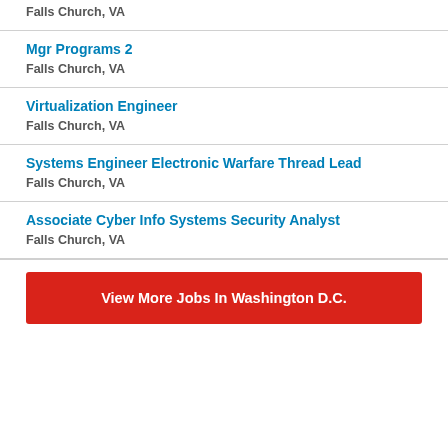Falls Church, VA
Mgr Programs 2
Falls Church, VA
Virtualization Engineer
Falls Church, VA
Systems Engineer Electronic Warfare Thread Lead
Falls Church, VA
Associate Cyber Info Systems Security Analyst
Falls Church, VA
View More Jobs In Washington D.C.